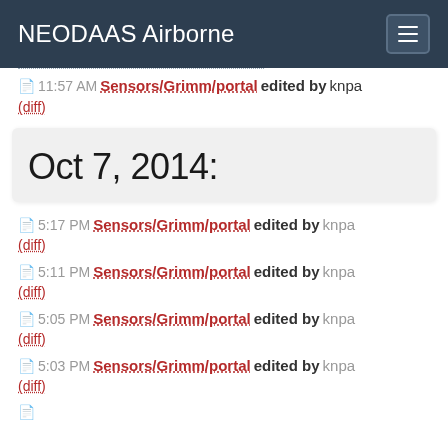NEODAAS Airborne
11:57 AM Sensors/Grimm/portal edited by knpa (diff)
Oct 7, 2014:
5:17 PM Sensors/Grimm/portal edited by knpa (diff)
5:11 PM Sensors/Grimm/portal edited by knpa (diff)
5:05 PM Sensors/Grimm/portal edited by knpa (diff)
5:03 PM Sensors/Grimm/portal edited by knpa (diff)